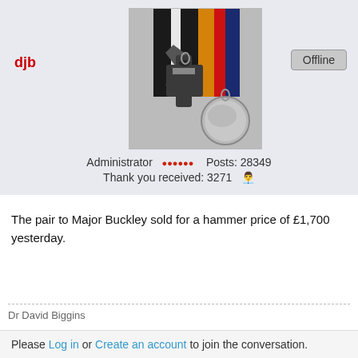djb
[Figure (photo): Military medals photo showing an Iron Cross and a circular silver medal with ribbons in black/white/orange/red/dark blue]
Offline
Administrator  ●●●●●●  Posts: 28349
Thank you received: 3271  👤
The pair to Major Buckley sold for a hammer price of £1,700 yesterday.
Dr David Biggins
Please Log in or Create an account to join the conversation.